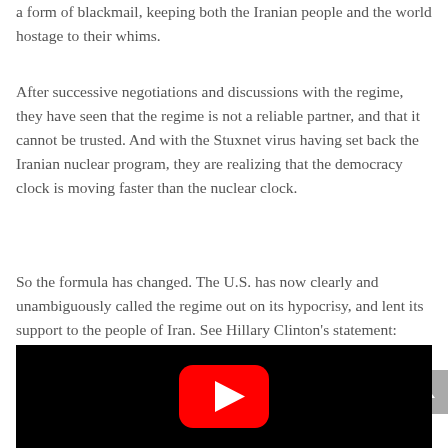a form of blackmail, keeping both the Iranian people and the world hostage to their whims.
After successive negotiations and discussions with the regime, they have seen that the regime is not a reliable partner, and that it cannot be trusted. And with the Stuxnet virus having set back the Iranian nuclear program, they are realizing that the democracy clock is moving faster than the nuclear clock.
So the formula has changed. The U.S. has now clearly and unambiguously called the regime out on its hypocrisy, and lent its support to the people of Iran. See Hillary Clinton's statement:
[Figure (screenshot): Embedded YouTube video player showing a black background with red YouTube play button in the center]